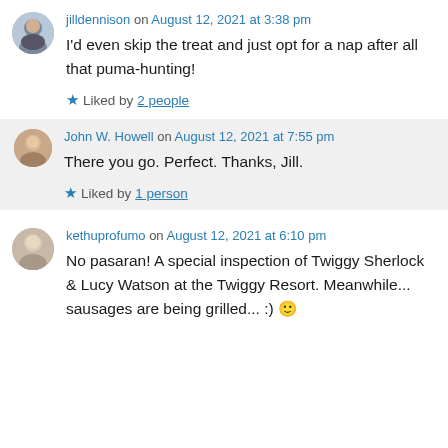jilldennison on August 12, 2021 at 3:38 pm
I'd even skip the treat and just opt for a nap after all that puma-hunting!
Liked by 2 people
John W. Howell on August 12, 2021 at 7:55 pm
There you go. Perfect. Thanks, Jill.
Liked by 1 person
kethuprofumo on August 12, 2021 at 6:10 pm
No pasaran! A special inspection of Twiggy Sherlock & Lucy Watson at the Twiggy Resort. Meanwhile... sausages are being grilled... :)